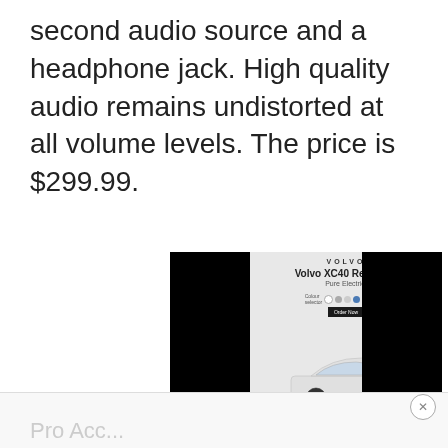second audio source and a headphone jack. High quality audio remains undistorted at all volume levels. The price is $299.99.
[Figure (photo): Advertisement banner for Volvo XC40 Recharge Pure Electric vehicle, showing the car with color selector options and an order button. Black panels flank the center content area.]
Pro Acc...